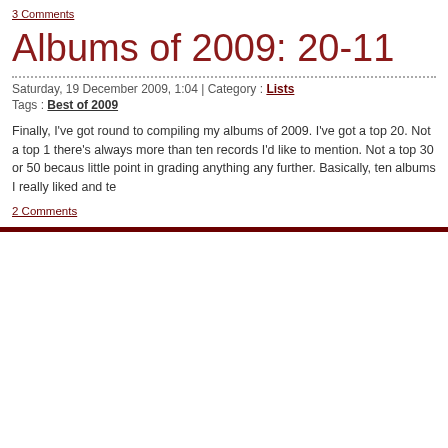3 Comments
Albums of 2009: 20-11
Saturday, 19 December 2009, 1:04 | Category : Lists
Tags : Best of 2009
Finally, I've got round to compiling my albums of 2009. I've got a top 20. Not a top 1 there's always more than ten records I'd like to mention. Not a top 30 or 50 becaus little point in grading anything any further. Basically, ten albums I really liked and te
2 Comments